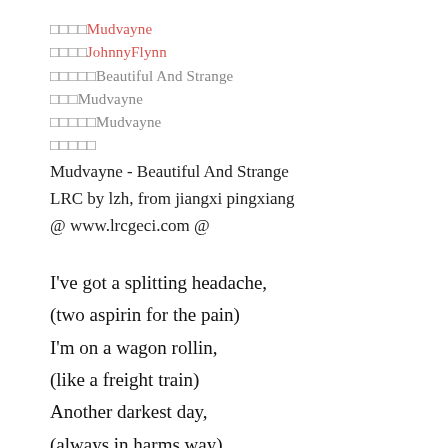□□□□Mudvayne
□□□□JohnnyFlynn
□□□□□Beautiful And Strange
□□□Mudvayne
□□□□□Mudvayne
□□□□□
Mudvayne - Beautiful And Strange
LRC by lzh, from jiangxi pingxiang
@ www.lrcgeci.com @
I've got a splitting headache,
(two aspirin for the pain)
I'm on a wagon rollin,
(like a freight train)
Another darkest day,
(always in harms way)